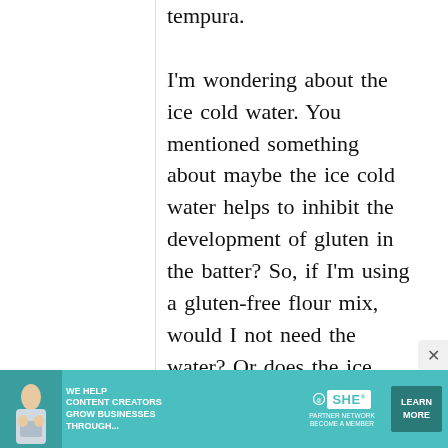tempura.

I'm wondering about the ice cold water. You mentioned something about maybe the ice cold water helps to inhibit the development of gluten in the batter? So, if I'm using a gluten-free flour mix, would I not need the water? Or does the ice
[Figure (other): Advertisement banner for SHE Media Partner Network. Teal/turquoise background with text 'WE HELP CONTENT CREATORS GROW BUSINESSES THROUGH...' and SHE logo, 'BECOME A MEMBER', and a 'LEARN MORE' button.]